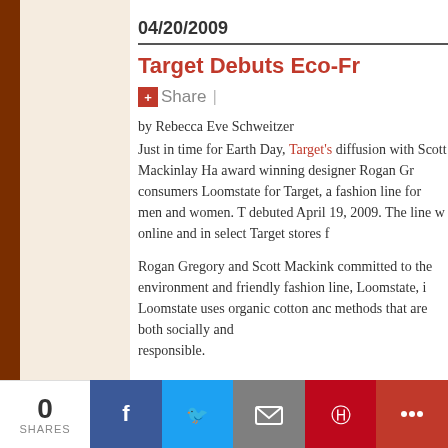04/20/2009
Target Debuts Eco-Fr...
Share |
by Rebecca Eve Schweitzer
Just in time for Earth Day, Target's diffusion with Scott Mackinlay Ha award winning designer Rogan Gr consumers Loomstate for Target, a fashion line for men and women. T debuted April 19, 2009. The line w online and in select Target stores f
Rogan Gregory and Scott Mackink committed to the environment and friendly fashion line, Loomstate, i Loomstate uses organic cotton anc methods that are both socially and responsible.